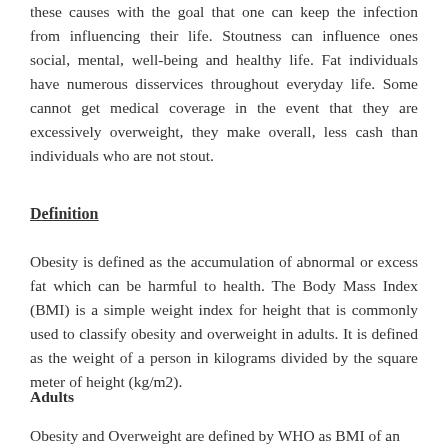these causes with the goal that one can keep the infection from influencing their life. Stoutness can influence ones social, mental, well-being and healthy life. Fat individuals have numerous disservices throughout everyday life. Some cannot get medical coverage in the event that they are excessively overweight, they make overall, less cash than individuals who are not stout.
Definition
Obesity is defined as the accumulation of abnormal or excess fat which can be harmful to health. The Body Mass Index (BMI) is a simple weight index for height that is commonly used to classify obesity and overweight in adults. It is defined as the weight of a person in kilograms divided by the square meter of height (kg/m2).
Adults
Obesity and Overweight are defined by WHO as BMI of an